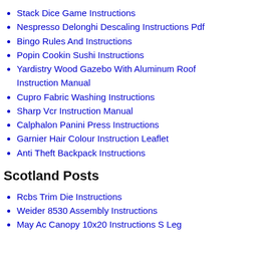Stack Dice Game Instructions
Nespresso Delonghi Descaling Instructions Pdf
Bingo Rules And Instructions
Popin Cookin Sushi Instructions
Yardistry Wood Gazebo With Aluminum Roof Instruction Manual
Cupro Fabric Washing Instructions
Sharp Vcr Instruction Manual
Calphalon Panini Press Instructions
Garnier Hair Colour Instruction Leaflet
Anti Theft Backpack Instructions
Scotland Posts
Rcbs Trim Die Instructions
Weider 8530 Assembly Instructions
May Ac Canopy 10x20 Instructions S Leg